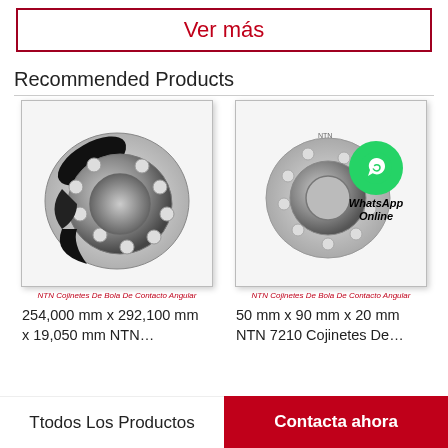Ver más
Recommended Products
[Figure (photo): NTN angular contact ball bearing, large, metallic, shown at angle. Caption: NTN Cojinetes De Bola De Contacto Angular]
NTN Cojinetes De Bola De Contacto Angular
254,000 mm x 292,100 mm x 19,050 mm NTN…
[Figure (photo): NTN angular contact ball bearing, smaller, metallic, with WhatsApp Online overlay. Caption: NTN Cojinetes De Bola De Contacto Angular]
NTN Cojinetes De Bola De Contacto Angular
50 mm x 90 mm x 20 mm NTN 7210 Cojinetes De…
Ttodos Los Productos
Contacta ahora